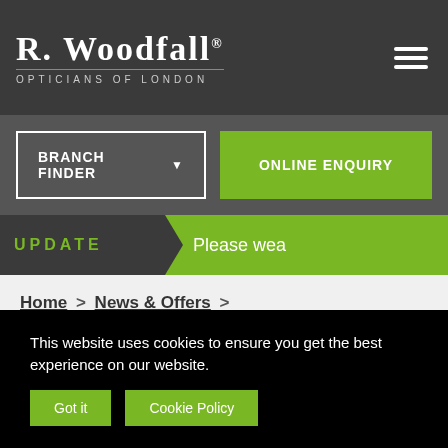R. WOODFALL® OPTICIANS OF LONDON
BRANCH FINDER ▼
ONLINE ENQUIRY
UPDATE  Please wea
Home > News & Offers > Dulwich Festival – Children's Art Competition in Dulwich.
This website uses cookies to ensure you get the best experience on our website.
Got it
Cookie Policy